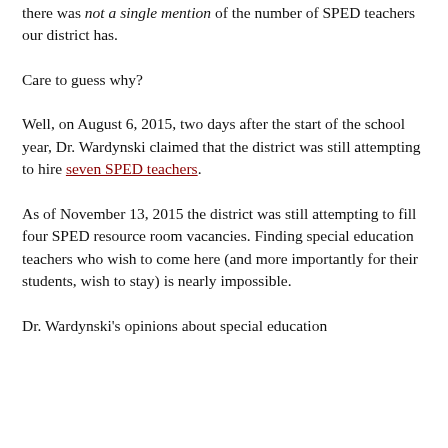there was not a single mention of the number of SPED teachers our district has.
Care to guess why?
Well, on August 6, 2015, two days after the start of the school year, Dr. Wardynski claimed that the district was still attempting to hire seven SPED teachers.
As of November 13, 2015 the district was still attempting to fill four SPED resource room vacancies. Finding special education teachers who wish to come here (and more importantly for their students, wish to stay) is nearly impossible.
Dr. Wardynski's opinions about special education